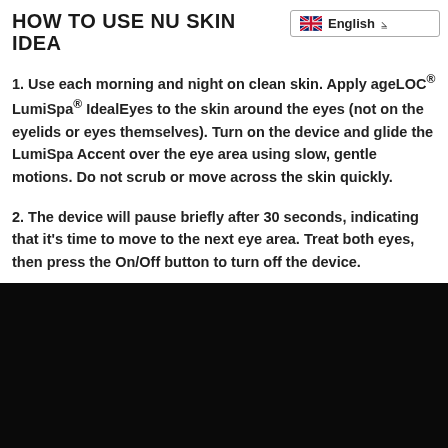HOW TO USE NU SKIN IDEA…
1. Use each morning and night on clean skin. Apply ageLOC® LumiSpa® IdealEyes to the skin around the eyes (not on the eyelids or eyes themselves). Turn on the device and glide the LumiSpa Accent over the eye area using slow, gentle motions. Do not scrub or move across the skin quickly.
2. The device will pause briefly after 30 seconds, indicating that it's time to move to the next eye area. Treat both eyes, then press the On/Off button to turn off the device.
[Figure (other): Black video player area]